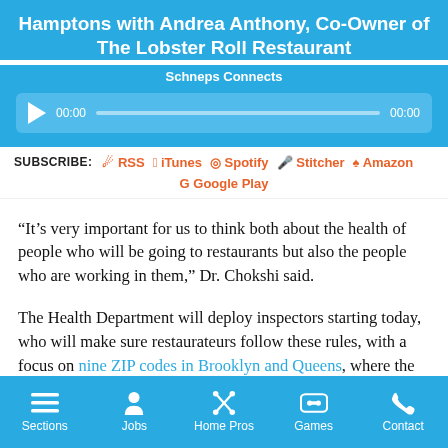Hamptons with Andrea Anthony, Co-Owner of The Lobster Roll Restaurant
Schneps Connects
[Figure (other): Audio podcast player widget with play button, progress bar, and timestamps 00:00]
SUBSCRIBE: RSS  iTunes  Spotify  Stitcher  Amazon  Google Play
“It’s very important for us to think both about the health of people who will be going to restaurants but also the people who are working in them,” Dr. Chokshi said.
The Health Department will deploy inspectors starting today, who will make sure restaurateurs follow these rules, with a focus on nine ZIP codes in Brooklyn and Queens, where the city has logged troublesome upticks in COVID infections and account for a
Sections  Jobs  Home Pros  Games  Contact